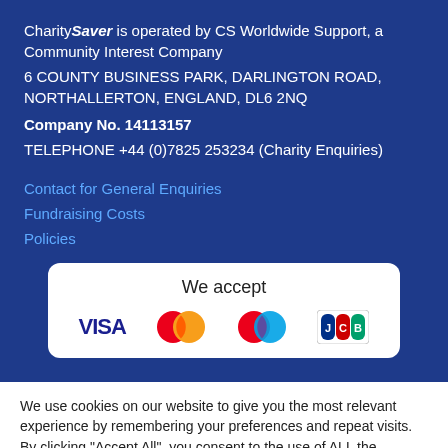CharitySaver is operated by CS Worldwide Support, a Community Interest Company
6 COUNTY BUSINESS PARK, DARLINGTON ROAD, NORTHALLERTON, ENGLAND, DL6 2NQ
Company No. 14113157
TELEPHONE +44 (0)7825 253234 (Charity Enquiries)
Contact for General Enquiries
Fundraising Costs
Policies
[Figure (infographic): We accept payment logos: VISA, Mastercard, Maestro, JCB]
We use cookies on our website to give you the most relevant experience by remembering your preferences and repeat visits. By clicking "Accept All", you consent to the use of ALL the cookies. However, you may visit "Cookie Settings" to provide a controlled consent.